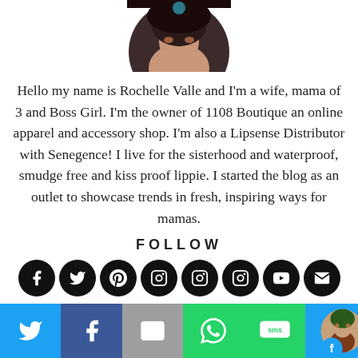[Figure (photo): Circular profile photo of a woman, cropped from the top]
Hello my name is Rochelle Valle and I'm a wife, mama of 3 and Boss Girl. I'm the owner of 1108 Boutique an online apparel and accessory shop. I'm also a Lipsense Distributor with Senegence! I live for the sisterhood and waterproof, smudge free and kiss proof lippie. I started the blog as an outlet to showcase trends in fresh, inspiring ways for mamas.
FOLLOW
[Figure (infographic): Row of 8 black circular social media icons: Facebook, Twitter, Pinterest, Instagram, Instagram, Instagram, YouTube, Email]
[Figure (infographic): Bottom bar with social sharing buttons: Twitter (blue), Facebook (dark blue), Email (gray), WhatsApp (green), SMS (green), and a small circular avatar photo]